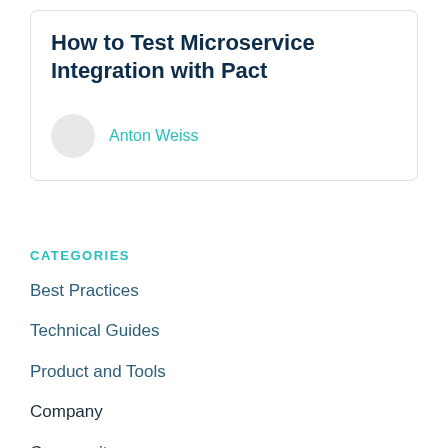How to Test Microservice Integration with Pact
Anton Weiss
CATEGORIES
Best Practices
Technical Guides
Product and Tools
Company
Community